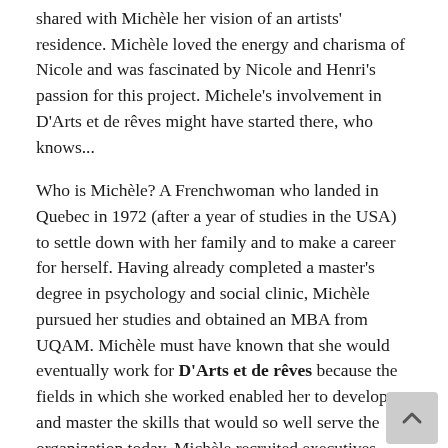shared with Michèle her vision of an artists' residence. Michèle loved the energy and charisma of Nicole and was fascinated by Nicole and Henri's passion for this project. Michele's involvement in D'Arts et de rêves might have started there, who knows...
Who is Michèle? A Frenchwoman who landed in Quebec in 1972 (after a year of studies in the USA) to settle down with her family and to make a career for herself. Having already completed a master's degree in psychology and social clinic, Michèle pursued her studies and obtained an MBA from UQAM. Michèle must have known that she would eventually work for D'Arts et de rêves because the fields in which she worked enabled her to develop and master the skills that would so well serve the organization today. Michèle recruited executives, headed CLSCs, held senior executive positions with the Association Québécoise d'Établissements de Santé et de Services Sociaux (AQESSS), provided support to a number of institutions, negotiated with various ministries... in short, a seasoned professional!
And what did Michèle do for D'Arts et de rêves? To begin with, like many others, she participated in the May 23, 2015